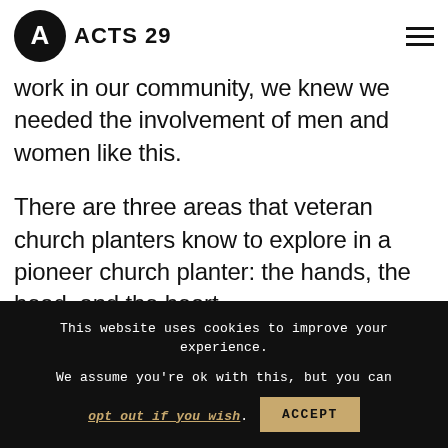ACTS 29
work in our community, we knew we needed the involvement of men and women like this.
There are three areas that veteran church planters know to explore in a pioneer church planter: the hands, the head, and the heart.
This website uses cookies to improve your experience. We assume you're ok with this, but you can opt out if you wish.